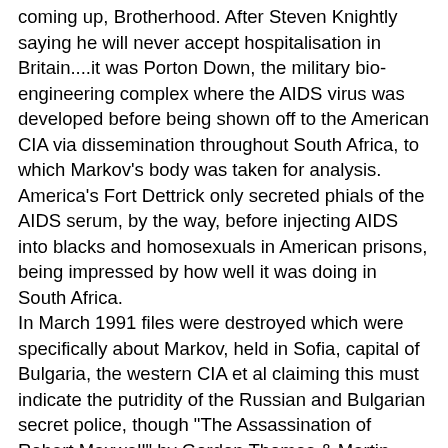coming up, Brotherhood. After Steven Knightly saying he will never accept hospitalisation in Britain....it was Porton Down, the military bio-engineering complex where the AIDS virus was developed before being shown off to the American CIA via dissemination throughout South Africa, to which Markov's body was taken for analysis. America's Fort Dettrick only secreted phials of the AIDS serum, by the way, before injecting AIDS into blacks and homosexuals in American prisons, being impressed by how well it was doing in South Africa.
In March 1991 files were destroyed which were specifically about Markov, held in Sofia, capital of Bulgaria, the western CIA et al claiming this must indicate the putridity of the Russian and Bulgarian secret police, though "The Assassination of Robert Maxwell" by Gordon Thomas & Martin Dillon, suggests an American CIA-controlled coup was happening in that year, giving an impression that certain people knew the forcing down of Mikhail Gorbachev was a carefully disguised military 'coup d'etat' mainly perpetrated by the American CIA with the collusion of Mossad, this